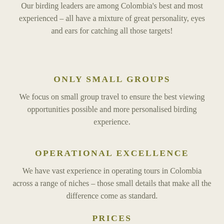Our birding leaders are among Colombia's best and most experienced – all have a mixture of great personality, eyes and ears for catching all those targets!
ONLY SMALL GROUPS
We focus on small group travel to ensure the best viewing opportunities possible and more personalised birding experience.
OPERATIONAL EXCELLENCE
We have vast experience in operating tours in Colombia across a range of niches – those small details that make all the difference come as standard.
PRICES